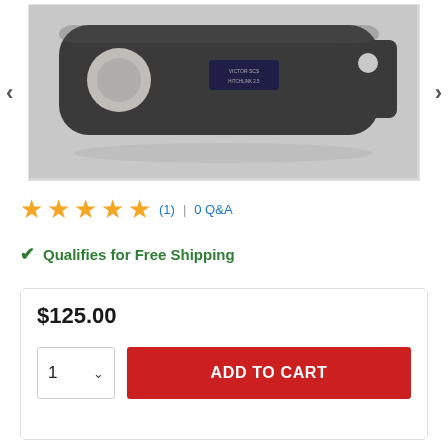[Figure (photo): Product photo of a dark gray metal hitch tow component (Victor SCS HitchLink 2.5) with circular hole opening, photographed against a light gray/white background. Navigation arrows on left and right sides.]
★★★★★ (1) | 0 Q&A
✔ Qualifies for Free Shipping
$125.00
1 ∨  ADD TO CART